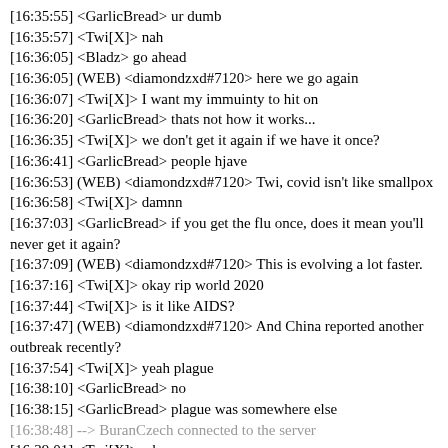[16:35:55] <GarlicBread> ur dumb
[16:35:57] <Twi[X]> nah
[16:36:05] <Bladz> go ahead
[16:36:05] (WEB) <diamondzxd#7120> here we go again
[16:36:07] <Twi[X]> I want my immuinty to hit on
[16:36:20] <GarlicBread> thats not how it works...
[16:36:35] <Twi[X]> we don't get it again if we have it once?
[16:36:41] <GarlicBread> people hjave
[16:36:53] (WEB) <diamondzxd#7120> Twi, covid isn't like smallpox
[16:36:58] <Twi[X]> damnn
[16:37:03] <GarlicBread> if you get the flu once, does it mean you'll never get it again?
[16:37:09] (WEB) <diamondzxd#7120> This is evolving a lot faster.
[16:37:16] <Twi[X]> okay rip world 2020
[16:37:44] <Twi[X]> is it like AIDS?
[16:37:47] (WEB) <diamondzxd#7120> And China reported another outbreak recently?
[16:37:54] <Twi[X]> yeah plague
[16:38:10] <GarlicBread> no
[16:38:15] <GarlicBread> plague was somewhere else
[16:38:48] --> BuranCzech connected to the server
[16:39:01] <Twi[X]> wb
[16:39:06] <BuranCzech> ty